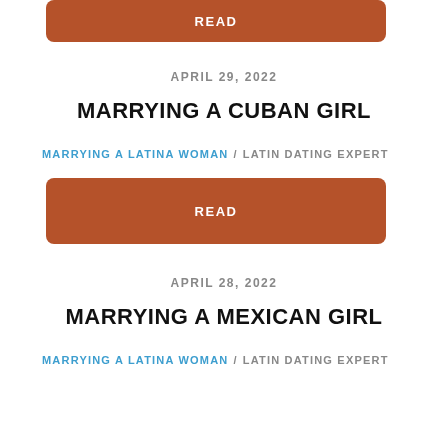[Figure (other): Orange-brown READ button (partial, top of page)]
APRIL 29, 2022
MARRYING A CUBAN GIRL
MARRYING A LATINA WOMAN / LATIN DATING EXPERT
[Figure (other): Orange-brown READ button]
APRIL 28, 2022
MARRYING A MEXICAN GIRL
MARRYING A LATINA WOMAN / LATIN DATING EXPERT